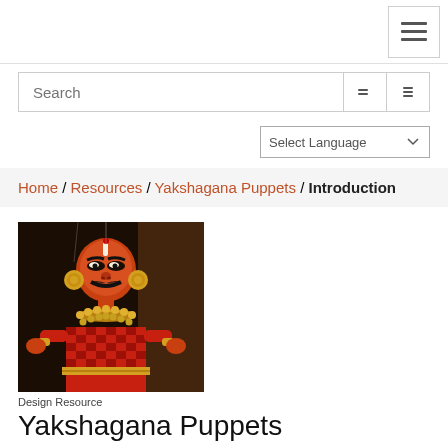☰ (hamburger menu button)
Search
Select Language
Home / Resources / Yakshagana Puppets / Introduction
[Figure (photo): A Yakshagana puppet with orange/red face paint, black mustache and eyes, wearing a checkered red outfit with golden necklaces and jewelry, traditional ornamental headdress]
Design Resource
Yakshagana Puppets